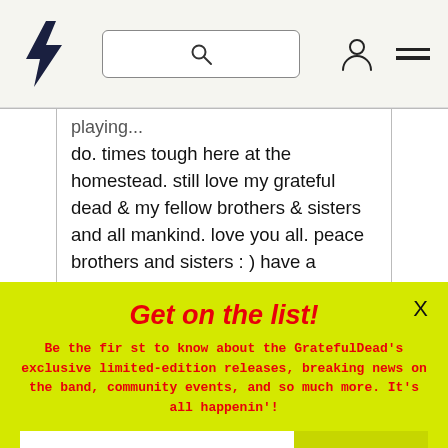Navigation bar with Grateful Dead lightning bolt logo, search box, user icon, and hamburger menu
do. times tough here at the homestead. still love my grateful dead & my fellow brothers & sisters and all mankind. love you all. peace brothers and sisters : ) have a blessed day : ) ~*~* hope to see you all soon one of theses days!!! : ) *HUGS* rainbows & butterflies.......*built to last... while years roll past.. like cloudscapes in the skies.. show me
Get on the list!
Be the first to know about the GratefulDead's exclusive limited-edition releases, breaking news on the band, community events, and so much more. It's all happenin'!
Email Address
SUBMIT
Terms